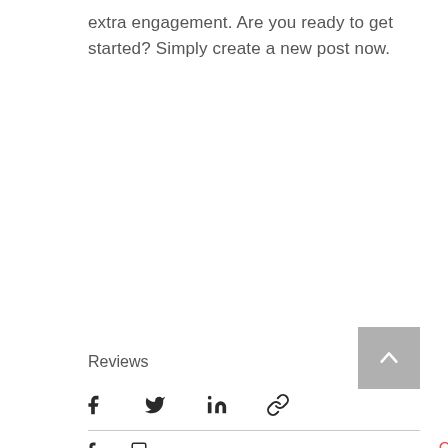extra engagement. Are you ready to get started? Simply create a new post now.
[Figure (other): Back to top button - grey square with upward chevron arrow]
Reviews
[Figure (other): Social sharing icons: Facebook, Twitter, LinkedIn, Link/chain icon]
[Figure (other): Bottom icon row partially visible: Facebook icon, another icon, and heart/like icon in red]